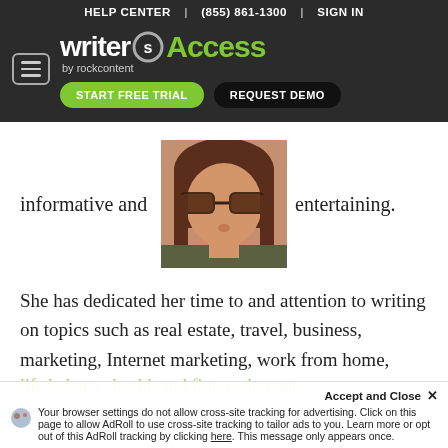HELP CENTER  |  (855) 861-1300  |  SIGN IN
[Figure (logo): WriterAccess by rockcontent logo with hamburger menu, START FREE TRIAL and REQUEST DEMO buttons on dark background]
informative and entertaining.
[Figure (photo): Profile photo of a woman wearing sunglasses with brown hair]
She has dedicated her time to and attention to writing on topics such as real estate, travel, business, marketing, Internet marketing, work from home,
life balance, health and fitness, human
Accept and Close ×
Your browser settings do not allow cross-site tracking for advertising. Click on this page to allow AdRoll to use cross-site tracking to tailor ads to you. Learn more or opt out of this AdRoll tracking by clicking here. This message only appears once.